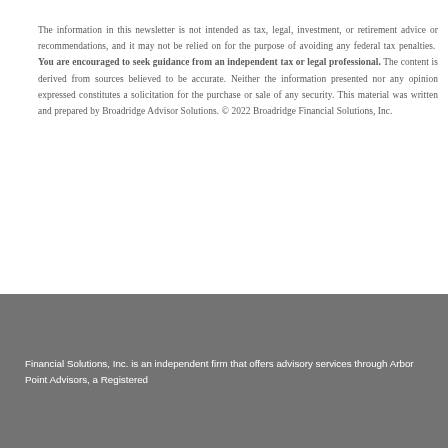The information in this newsletter is not intended as tax, legal, investment, or retirement advice or recommendations, and it may not be relied on for the purpose of avoiding any federal tax penalties. You are encouraged to seek guidance from an independent tax or legal professional. The content is derived from sources believed to be accurate. Neither the information presented nor any opinion expressed constitutes a solicitation for the purchase or sale of any security. This material was written and prepared by Broadridge Advisor Solutions. © 2022 Broadridge Financial Solutions, Inc.
Financial Solutions, Inc. is an independent firm that offers advisory services through Arbor Point Advisors, a Registered